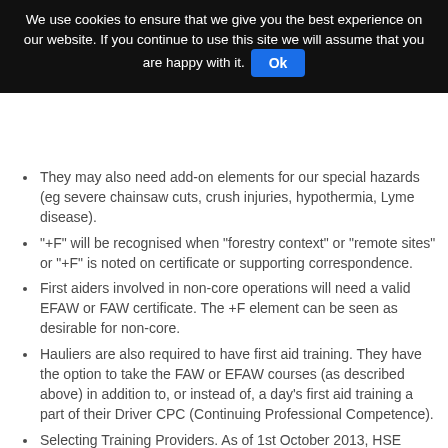We use cookies to ensure that we give you the best experience on our website. If you continue to use this site we will assume that you are happy with it. Ok
They may also need add-on elements for our special hazards (eg severe chainsaw cuts, crush injuries, hypothermia, Lyme disease).
"+F" will be recognised when "forestry context" or "remote sites" or "+F" is noted on certificate or supporting correspondence.
First aiders involved in non-core operations will need a valid EFAW or FAW certificate. The +F element can be seen as desirable for non-core.
Hauliers are also required to have first aid training. They have the option to take the FAW or EFAW courses (as described above) in addition to, or instead of, a day's first aid training a part of their Driver CPC (Continuing Professional Competence).
Selecting Training Providers. As of 1st October 2013, HSE stopped offering accreditation of first aid training providers. Now, when looking for a training